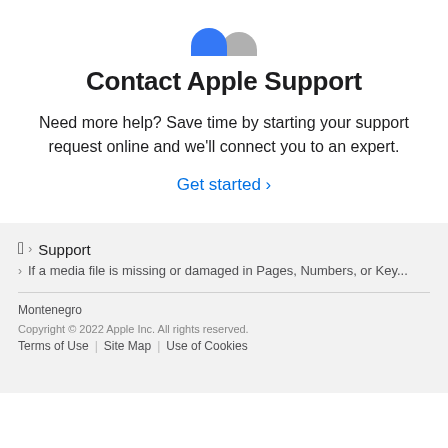[Figure (illustration): Two overlapping semicircle icons: a blue one on the left and a gray one on the right, representing Apple support contact icon]
Contact Apple Support
Need more help? Save time by starting your support request online and we'll connect you to an expert.
Get started ›
Support
If a media file is missing or damaged in Pages, Numbers, or Key...
Montenegro
Copyright © 2022 Apple Inc. All rights reserved.
Terms of Use | Site Map | Use of Cookies